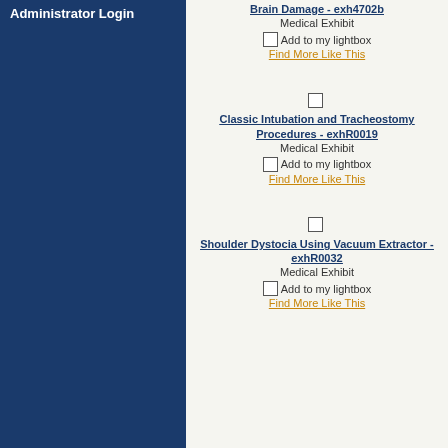Administrator Login
Brain Damage - exh4702b
Medical Exhibit
Add to my lightbox
Find More Like This
Classic Intubation and Tracheostomy Procedures - exhR0019
Medical Exhibit
Add to my lightbox
Find More Like This
Shoulder Dystocia Using Vacuum Extractor - exhR0032
Medical Exhibit
Add to my lightbox
Find More Like This